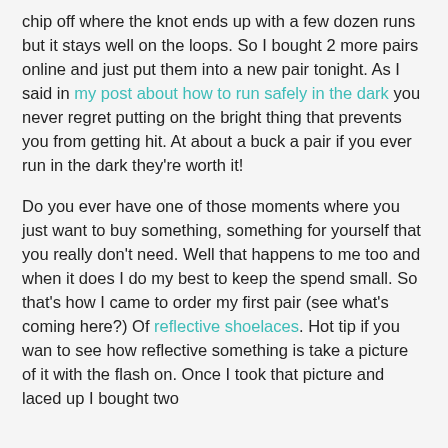chip off where the knot ends up with a few dozen runs but it stays well on the loops. So I bought 2 more pairs online and just put them into a new pair tonight. As I said in my post about how to run safely in the dark you never regret putting on the bright thing that prevents you from getting hit. At about a buck a pair if you ever run in the dark they're worth it!
Do you ever have one of those moments where you just want to buy something, something for yourself that you really don't need. Well that happens to me too and when it does I do my best to keep the spend small. So that's how I came to order my first pair (see what's coming here?) Of reflective shoelaces. Hot tip if you wan to see how reflective something is take a picture of it with the flash on. Once I took that picture and laced up I bought two